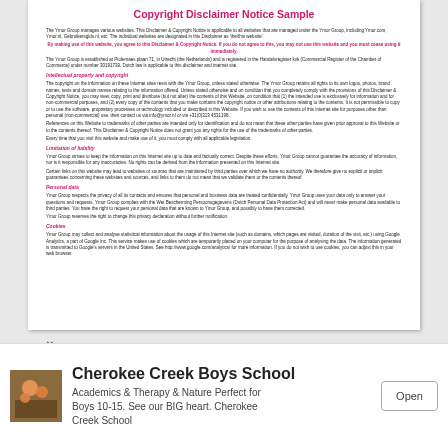Copyright Disclaimer Notice Sample
The Ymor Group manages various websites. This Disclaimer & Copyright Notice is applicable to all websites that are managed under the Ymor Group, including Ymor.com, Ymor.nl, Gebruikersgids.nl, etc. The individual websites are designated in this Disclaimer as 'the/this website'.
By making use of this website, you agree to this Disclaimer & Copyright Notice. If you do not agree to this, you may not use this website and you must cease using it immediately.
The Ymor Group is established at Ptolemaes plaan 71, in Utrecht (the Netherlands) and is registered in the Handelsregister kvk (Commercial Register of the Chamber of Commerce) under number 30191739. Dutch law is applicable to this disclaimer and internet site.
Intellectual property and copyright
The copyright on the information on these Internet sites rests with the Ymor Group, unless stated otherwise. The Ymor Group retains all rights to its own logos, photos, brand names, texts and domain names relating to the information offered. Unless stated otherwise and on condition that you completely comply with the provisions of this Disclaimer & Copyright Notice, you may view, copy, print and distribute (but not alter) the contents of this Website, on condition that (1) the intended use is exclusively for information and for non-commercial purposes, and (2) every copy of the contents that you make contains the copyright notice or other attributions relating to the contents. It is not permissible to copy or to use the software, proprietary processes or technology included or described in this Website. If you wish to use the contents of this Internet site for purposes other than personal (non-commercial) use, then contact us via info@ymor.nl or via +31(0)313 4531198.
References on this Website to trademarks of other parties are intended only for identification and do not mean that these other parties have given prior approval to this Website or to the contents thereof. This Disclaimer & Copyright Notice does not grant you any rights for the use of the trademarks of other parties.
Every time that you visit this website and make use of it, you must comply with all applicable legislation.
Limitation of liability
Ymor Group strives to keep the information on this Internet site up to date and factually correct. Despite these efforts, Ymor Group cannot guarantee the accuracy of information, nor is it responsible for any inaccuracies. No rights can be derived from the information presented on this Internet site.
Certain links on this website may lead to websites or sources that are maintained by third parties over which we have no authority. We therefore give no explicit or implicit guarantees concerning these websites and sources, and links to them do not mean that we validate them or the contents thereof.
Personal data
Ymor Group respects the privacy of all its contacts and ensures that personal and business data are treated confidentially. Ymor Group uses your data only to answer your questions and requests. Ymor Group complies with the Wet Bescherming Persoonsgegevens (Dutch Personal Data Protection Act) and will never make personal data available to third parties. You have the right to request your personal data that are known to Ymor Group, and possibly to have them corrected.
Ymor Group reserves the right to change this privacy declaration without further notification.
Cookies
Ymor Group may collect and analyse statistical information about the usage of this Internet site (such as domains, which pages are visited, duration of the visit, etc.) using Google Analytics, a part of Google Inc. This service makes use of cookies which are temporarily placed on your computer for the purpose of analysing the data. The information generated is transmitted to Google's servers in the United States. See http://www.google.com/analytics/ for more information. If you do not wish to use cookies, you can adjust this in your web browser.
Cherokee Creek Boys School
Academics & Therapy & Nature Perfect for Boys 10-15. See our BIG heart. Cherokee Creek School